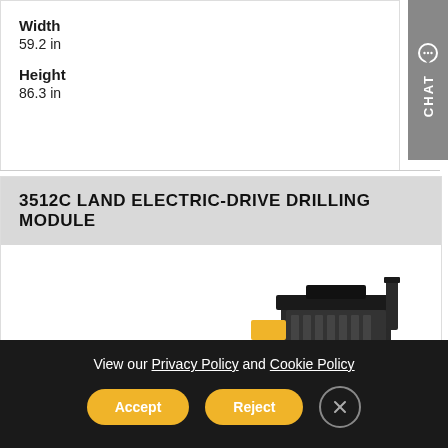Width
59.2 in
Height
86.3 in
3512C LAND ELECTRIC-DRIVE DRILLING MODULE
[Figure (photo): Partial view of a 3512C Land Electric-Drive Drilling Module industrial engine/equipment unit in yellow and black]
View our Privacy Policy and Cookie Policy
Accept
Reject